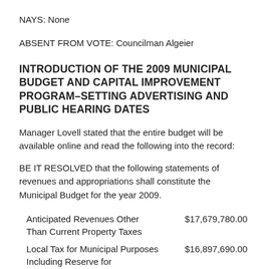NAYS: None
ABSENT FROM VOTE: Councilman Algeier
INTRODUCTION OF THE 2009 MUNICIPAL BUDGET AND CAPITAL IMPROVEMENT PROGRAM–SETTING ADVERTISING AND PUBLIC HEARING DATES
Manager Lovell stated that the entire budget will be available online and read the following into the record:
BE IT RESOLVED that the following statements of revenues and appropriations shall constitute the Municipal Budget for the year 2009.
|  |  |
| --- | --- |
| Anticipated Revenues Other Than Current Property Taxes | $17,679,780.00 |
| Local Tax for Municipal Purposes Including Reserve for Uncollected | $16,897,690.00 |